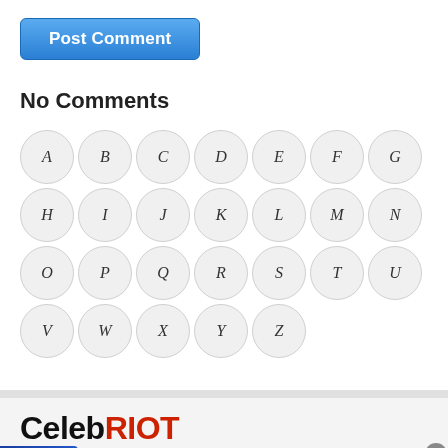[Figure (screenshot): Blue 'Post Comment' button with white bold text]
No Comments
[Figure (infographic): Alphabet A-Z displayed as circular letter buttons in two rows plus Y and Z]
[Figure (screenshot): CelebRIOT logo with infolinks badge and Wayfair.com advertisement banner]